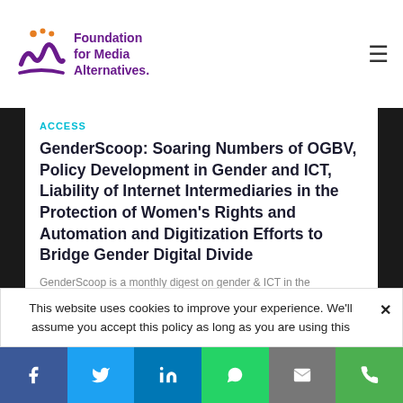Foundation for Media Alternatives
ACCESS
GenderScoop: Soaring Numbers of OGBV, Policy Development in Gender and ICT, Liability of Internet Intermediaries in the Protection of Women’s Rights and Automation and Digitization Efforts to Bridge Gender Digital Divide
GenderScoop is a monthly digest on gender & ICT in the
This website uses cookies to improve your experience. We'll assume you accept this policy as long as you are using this
Facebook Twitter LinkedIn WhatsApp Email Phone